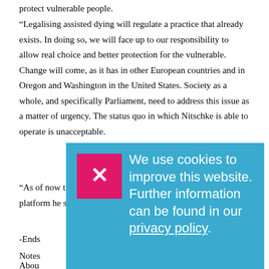protect vulnerable people.
“Legalising assisted dying will regulate a practice that already exists. In doing so, we will face up to our responsibility to allow real choice and better protection for the vulnerable. Change will come, as it has in other European countries and in Oregon and Washington in the United States. Society as a whole, and specifically Parliament, need to address this issue as a matter of urgency. The status quo in which Nitschke is able to operate is unacceptable.
“As of now the best course of action is not to give Nitschke the platform he so desperately craves.”
-Ends
Notes
Abou
[Figure (screenshot): Cookie consent banner overlay with pink close button (X) on a blue background. Text reads: 'We use cookies to improve this website. Further information can be found in our privacy policy.']